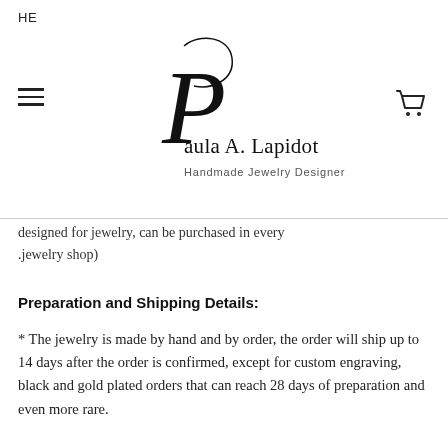HE
[Figure (logo): Paula A. Lapidot Handmade Jewelry Designer logo with decorative script P]
designed for jewelry, can be purchased in every .jewelry shop)
Preparation and Shipping Details:
* The jewelry is made by hand and by order, the order will ship up to 14 days after the order is confirmed, except for custom engraving, black and gold plated orders that can reach 28 days of preparation and even more rare.